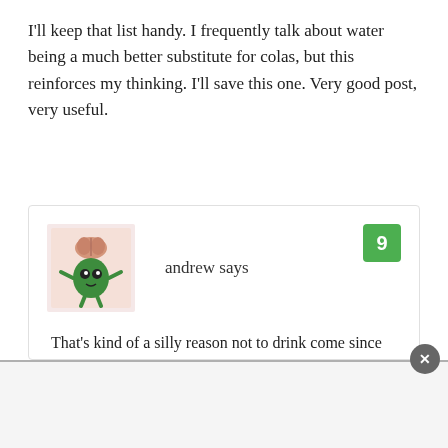I'll keep that list handy. I frequently talk about water being a much better substitute for colas, but this reinforces my thinking. I'll save this one. Very good post, very useful.
andrew says
That's kind of a silly reason not to drink come since vinegar and baking soda are on the list. They are both just as acidic and caustic as Coke.